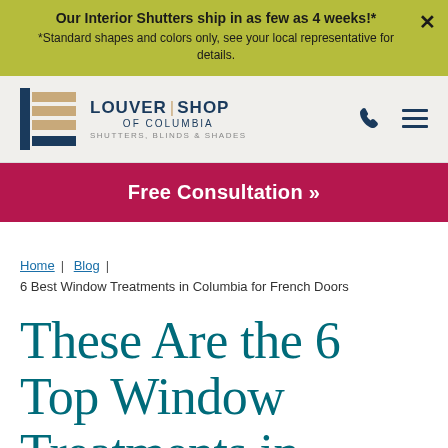Our Interior Shutters ship in as few as 4 weeks!* *Standard shapes and colors only, see your local representative for details.
[Figure (logo): Louver Shop of Columbia – Shutters, Blinds & Shades logo with stylized L icon]
Free Consultation »
Home | Blog | 6 Best Window Treatments in Columbia for French Doors
These Are the 6 Top Window Treatments in